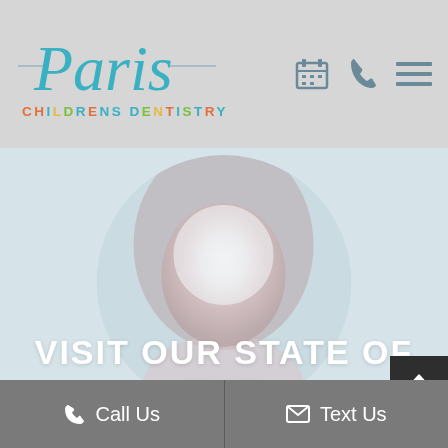[Figure (logo): Paris Childrens Dentistry logo with teal script 'Paris' text and colorful 'CHILDRENS DENTISTRY' subtitle]
[Figure (photo): Circular cropped photo of a smiling young woman with brown hair, faded/washed out, on a light blue-gray background]
VISIT OUR STATE OF THE ART OFFICE
Call Us
Text Us